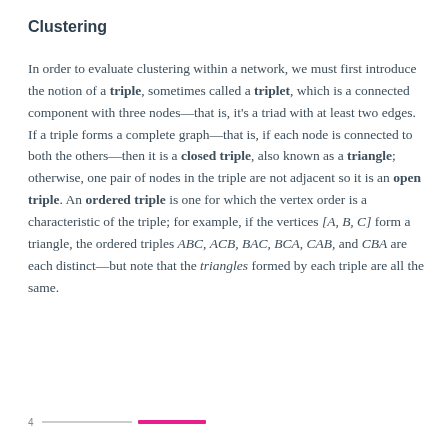Clustering
In order to evaluate clustering within a network, we must first introduce the notion of a triple, sometimes called a triplet, which is a connected component with three nodes—that is, it's a triad with at least two edges. If a triple forms a complete graph—that is, if each node is connected to both the others—then it is a closed triple, also known as a triangle; otherwise, one pair of nodes in the triple are not adjacent so it is an open triple. An ordered triple is one for which the vertex order is a characteristic of the triple; for example, if the vertices [A, B, C] form a triangle, the ordered triples ABC, ACB, BAC, BCA, CAB, and CBA are each distinct—but note that the triangles formed by each triple are all the same.
4